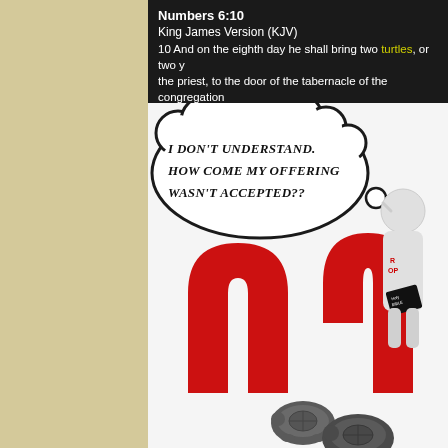Numbers 6:10
King James Version (KJV)
10 And on the eighth day he shall bring two turtles, or two young pigeons, to the priest, to the door of the tabernacle of the congregation
[Figure (illustration): Comic-style illustration with a thought bubble reading 'I DON'T UNDERSTAND. HOW COME MY OFFERING WASN'T ACCEPTED??' above a red horseshoe/question mark shape, with a white 3D figure holding a Holy Bible and two turtles at the bottom right.]